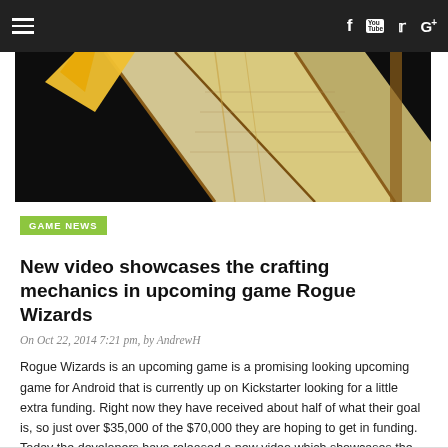≡   f  [YouTube]  𝕏  G+
[Figure (illustration): Partial view of an illustrated book or scroll with yellow/cream pages on a dark black background, partial game art for Rogue Wizards]
GAME NEWS
New video showcases the crafting mechanics in upcoming game Rogue Wizards
On Oct 22, 2014 7:21 pm, by AndrewH
Rogue Wizards is an upcoming game is a promising looking upcoming game for Android that is currently up on Kickstarter looking for a little extra funding. Right now they have received about half of what their goal is, so just over $35,000 of the $70,000 they are hoping to get in funding. Today the developers have released a new video which showcases the crafting in the game which is done with Forgestone and Cauldron Systems.